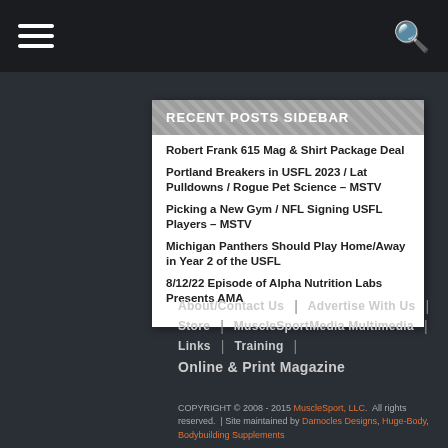Navigation bar with hamburger menu and search icon
RECENT POSTS SIDEBAR
Robert Frank 615 Mag & Shirt Package Deal
Portland Breakers in USFL 2023 / Lat Pulldowns / Rogue Pet Science – MSTV
Picking a New Gym / NFL Signing USFL Players – MSTV
Michigan Panthers Should Play Home/Away in Year 2 of the USFL
8/12/22 Episode of Alpha Nutrition Labs Presents AMA
About/Contact Us | Advertise With Us | Store | MuscleSportMedia Multimedia | Links | Training | Online & Print Magazine | COPYRIGHT © 2008 - 2015 MuscleSport, LLC. All rights reserved. | Site maintained by Damocles Designs, Huge-Body, Bodybuilding Supplements